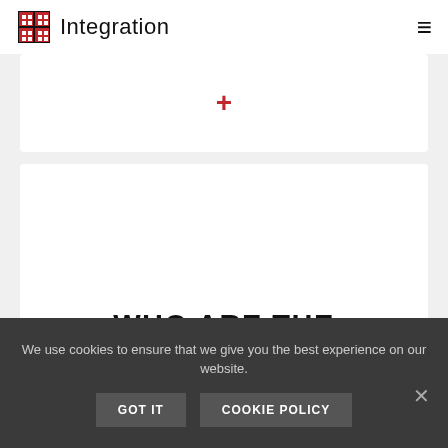Integration
[Figure (other): Partial card with a red plus icon centered]
WHO ARE THE FACTOR HUMANUS SCIENTIA COMPANY AND THE SCIENTISTS BEHIND THE METHOD?  +
We use cookies to ensure that we give you the best experience on our website.
GOT IT    COOKIE POLICY